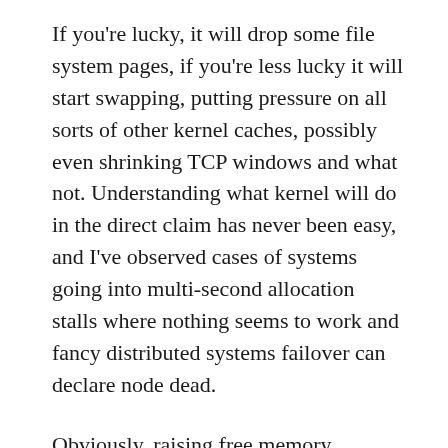If you're lucky, it will drop some file system pages, if you're less lucky it will start swapping, putting pressure on all sorts of other kernel caches, possibly even shrinking TCP windows and what not. Understanding what kernel will do in the direct claim has never been easy, and I've observed cases of systems going into multi-second allocation stalls where nothing seems to work and fancy distributed systems failover can declare node dead.
Obviously, raising free memory reserves helps a lot, and on various servers we maintain 1GB free memory pool just because low watermark is too low otherwise. Johannes Weiner from our kernel team has proposed tunable change in